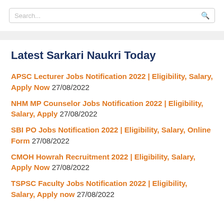Search...
Latest Sarkari Naukri Today
APSC Lecturer Jobs Notification 2022 | Eligibility, Salary, Apply Now 27/08/2022
NHM MP Counselor Jobs Notification 2022 | Eligibility, Salary, Apply 27/08/2022
SBI PO Jobs Notification 2022 | Eligibility, Salary, Online Form 27/08/2022
CMOH Howrah Recruitment 2022 | Eligibility, Salary, Apply Now 27/08/2022
TSPSC Faculty Jobs Notification 2022 | Eligibility, Salary, Apply now 27/08/2022